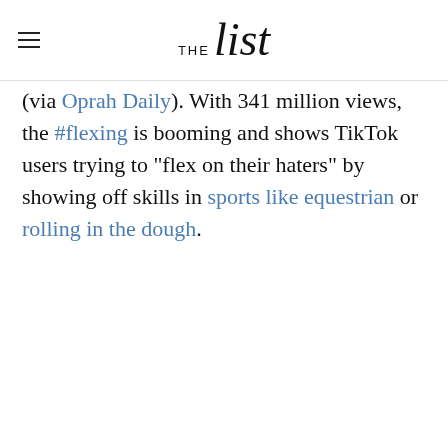THE list
(via Oprah Daily). With 341 million views, the #flexing is booming and shows TikTok users trying to "flex on their haters" by showing off skills in sports like equestrian or rolling in the dough.